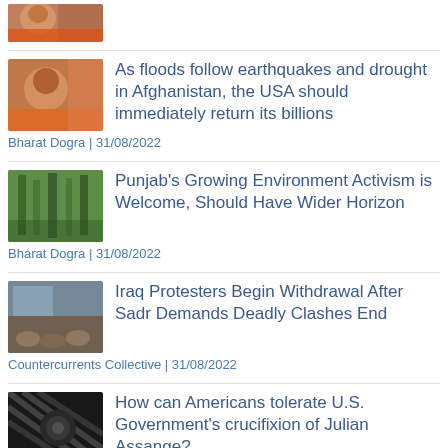[Figure (photo): Partial image of a person at the top of the page, cropped]
As floods follow earthquakes and drought in Afghanistan, the USA should immediately return its billions
Bharat Dogra | 31/08/2022
[Figure (photo): Green forest/trees scene]
Punjab's Growing Environment Activism is Welcome, Should Have Wider Horizon
Bharat Dogra | 31/08/2022
[Figure (photo): Crowd scene, protesters]
Iraq Protesters Begin Withdrawal After Sadr Demands Deadly Clashes End
Countercurrents Collective | 31/08/2022
[Figure (photo): Dark image with diagonal lines/bars, possibly Assange-related]
How can Americans tolerate U.S. Government's crucifixion of Julian Assange?